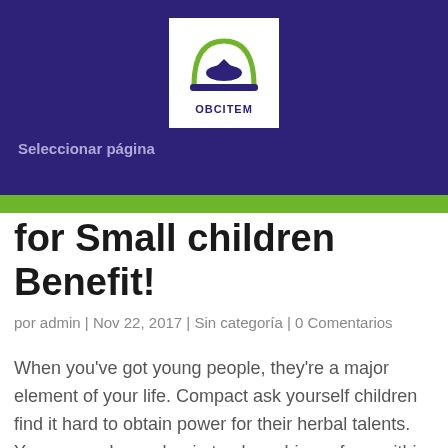[Figure (logo): OBCITEM logo: white box with green arch/helmet icon above the text OBCITEM in dark blue]
Seleccionar página
for Small children Benefit!
por admin | Nov 22, 2017 | Sin categoría | 0 Comentarios
When you've got young people, they're a major element of your life. Compact ask yourself children find it hard to obtain power for their herbal talents. Young people can begin to play a big perform within halting this specific mercilessness for you to animals. The vast majority of minute, fathers and mothers contend together with their kids caused by a tad miscommunication. For youths that